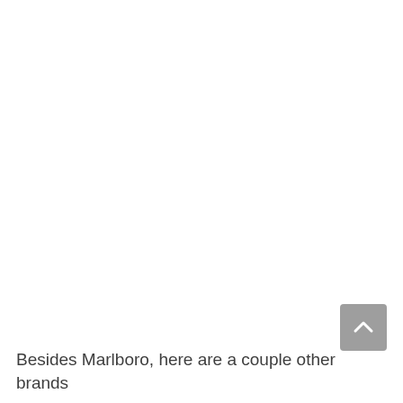[Figure (other): A grey rounded square scroll-to-top button with a white upward-pointing chevron arrow, positioned in the lower right area of the page.]
Besides Marlboro, here are a couple other brands